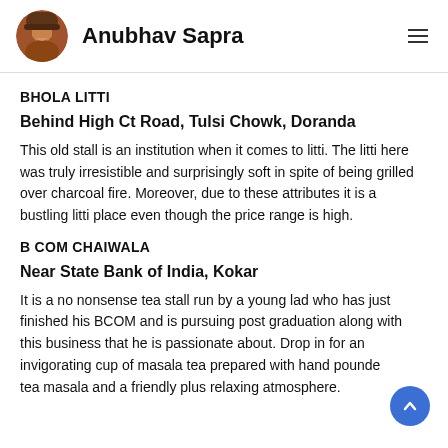Anubhav Sapra
BHOLA LITTI
Behind High Ct Road, Tulsi Chowk, Doranda
This old stall is an institution when it comes to litti. The litti here was truly irresistible and surprisingly soft in spite of being grilled over charcoal fire. Moreover, due to these attributes it is a bustling litti place even though the price range is high.
B COM CHAIWALA
Near State Bank of India, Kokar
It is a no nonsense tea stall run by a young lad who has just finished his BCOM and is pursuing post graduation along with this business that he is passionate about. Drop in for an invigorating cup of masala tea prepared with hand pounded tea masala and a friendly plus relaxing atmosphere.